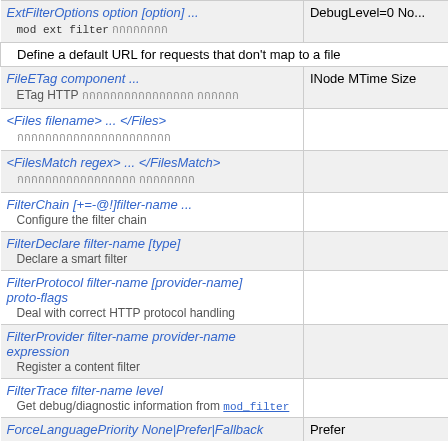| Directive | Default |
| --- | --- |
| ExtFilterOptions option [option] ...
mod ext filter [thai] | DebugLevel=0 No... |
| Define a default URL for requests that don't map to a file |  |
| FileETag component ...
ETag HTTP [thai] | INode MTime Size |
| <Files filename> ... </Files>
[thai] |  |
| <FilesMatch regex> ... </FilesMatch>
[thai] |  |
| FilterChain [+=-@!]filter-name ...
Configure the filter chain |  |
| FilterDeclare filter-name [type]
Declare a smart filter |  |
| FilterProtocol filter-name [provider-name] proto-flags
Deal with correct HTTP protocol handling |  |
| FilterProvider filter-name provider-name expression
Register a content filter |  |
| FilterTrace filter-name level
Get debug/diagnostic information from mod_filter |  |
| ForceLanguagePriority None|Prefer|Fallback | Prefer |